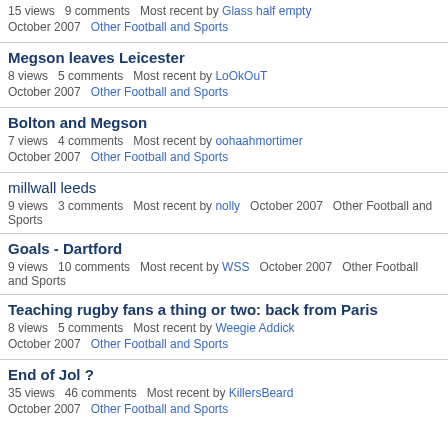15 views  9 comments  Most recent by Glass half empty
October 2007  Other Football and Sports
Megson leaves Leicester
8 views  5 comments  Most recent by LoOkOuT
October 2007  Other Football and Sports
Bolton and Megson
7 views  4 comments  Most recent by oohaahmortimer
October 2007  Other Football and Sports
millwall leeds
9 views  3 comments  Most recent by nolly  October 2007  Other Football and Sports
Goals - Dartford
9 views  10 comments  Most recent by WSS  October 2007  Other Football and Sports
Teaching rugby fans a thing or two: back from Paris
8 views  5 comments  Most recent by Weegie Addick
October 2007  Other Football and Sports
End of Jol ?
35 views  46 comments  Most recent by KillersBeard
October 2007  Other Football and Sports